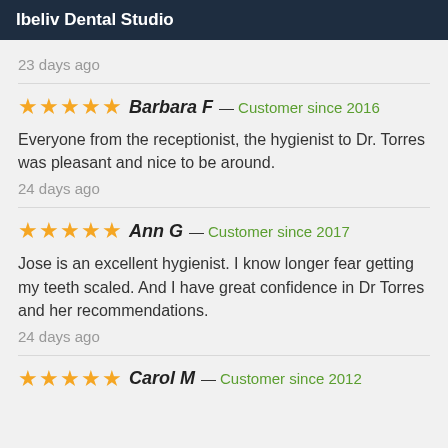Ibeliv Dental Studio
23 days ago
★★★★★ Barbara F — Customer since 2016
Everyone from the receptionist, the hygienist to Dr. Torres was pleasant and nice to be around.
24 days ago
★★★★★ Ann G — Customer since 2017
Jose is an excellent hygienist. I know longer fear getting my teeth scaled. And I have great confidence in Dr Torres and her recommendations.
24 days ago
★★★★★ Carol M — Customer since 2012